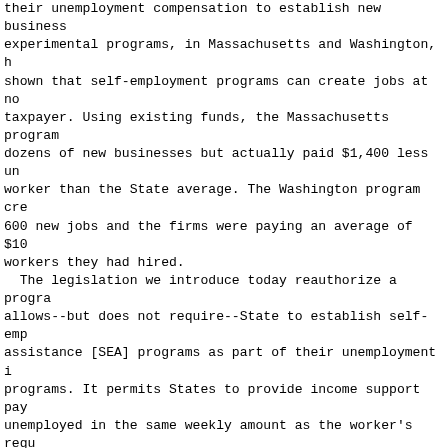their unemployment compensation to establish new businesses, experimental programs, in Massachusetts and Washington, have shown that self-employment programs can create jobs at no cost to taxpayer. Using existing funds, the Massachusetts program helped dozens of new businesses but actually paid $1,400 less unemployment per worker than the State average. The Washington program created over 600 new jobs and the firms were paying an average of $10 per hour to workers they had hired.
  The legislation we introduce today reauthorize a program that allows--but does not require--State to establish self-employment assistance [SEA] programs as part of their unemployment insurance programs. It permits States to provide income support payments to unemployed in the same weekly amount as the worker's regular unemployment insurance [UI] benefits would otherwise be, so workers may work full time on starting their own business instead of searching for traditional wage and salary jobs. In effect, this legislation removes a high hurdle facing those who have the ingenuity, drive, and energy to start their own businesses. It eliminates a flaw in the law that has forced workers interested in self-employment to choose between receiving UI benefits and starting a new business.

  Self-employment assistance has not only proved to be a cost-effective reemployment option for unemployed workers; its benefits far outweigh its costs as well. While the law is not a panacea for all of the Nation's unemployed, it's an opportunity for many skilled workers to get back to work faster and helps create new jobs as well.
  In a recent tour around Oregon, my State SEA officials reported tremendous enthusiasm for this program. They reported to me that the SEA Program in Oregon is meeting the goal of providing dislocated workers--as identified through worker profiling--